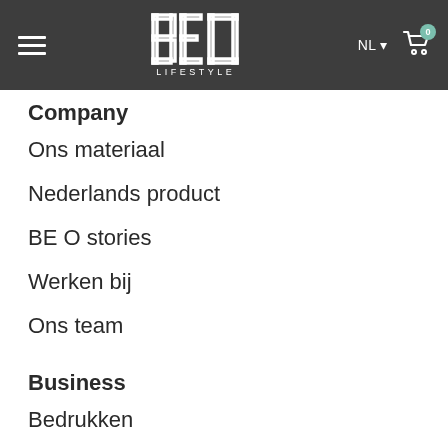BE O LIFESTYLE — NL — Cart (0)
Company
Ons materiaal
Nederlands product
BE O stories
Werken bij
Ons team
Business
Bedrukken
Retailer worden
Samenwerken met ons